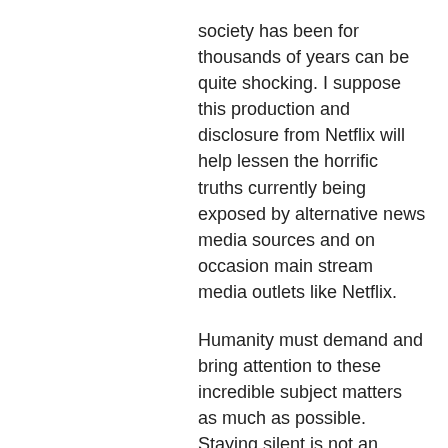society has been for thousands of years can be quite shocking. I suppose this production and disclosure from Netflix will help lessen the horrific truths currently being exposed by alternative news media sources and on occasion main stream media outlets like Netflix.
Humanity must demand and bring attention to these incredible subject matters as much as possible. Staying silent is not an option if you want to be free from the corruption and manipulation in government. #Pizzagate, #Pedogate, #Hampstead, #UnRig
AscensionWithEarth.Com
http://www.stillnessinthestorm.com/2017/06/illum